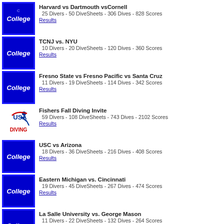Harvard vs Dartmouth vsCornell
25 Divers - 50 DiveSheets - 306 Dives - 828 Scores
Results
TCNJ vs. NYU
10 Divers - 20 DiveSheets - 120 Dives - 360 Scores
Results
Fresno State vs Fresno Pacific vs Santa Cruz
11 Divers - 19 DiveSheets - 114 Dives - 342 Scores
Results
Fishers Fall Diving Invite
59 Divers - 108 DiveSheets - 743 Dives - 2102 Scores
Results
USC vs Arizona
18 Divers - 36 DiveSheets - 216 Dives - 408 Scores
Results
Eastern Michigan vs. Cincinnati
19 Divers - 45 DiveSheets - 267 Dives - 474 Scores
Results
La Salle University vs. George Mason
11 Divers - 22 DiveSheets - 132 Dives - 264 Scores
Results
Sun Devil Invitational
145 Divers - 280 DiveSheets - 1980 Dives - 5850 Scores
Results
2014 WIAA Girls State Swimming and Diving Championships 3A
24 Divers - 24 DiveSheets - 696 Dives - 1596 Scores
Results
2014 WIAA Girls State Swimming and Diving Championships 4A
24 Divers - 24 DiveSheets - 696 Dives - 1596 Scores
Results
2014 WIAA Girls State Swimming and Diving Championships 2A
24 Divers - 24 DiveSheets - 696 Dives - 1596 Scores
Results
UCLA vs. Arizona
10 Divers - 20 DiveSheets - 120 Dives - 194 Scores
Results